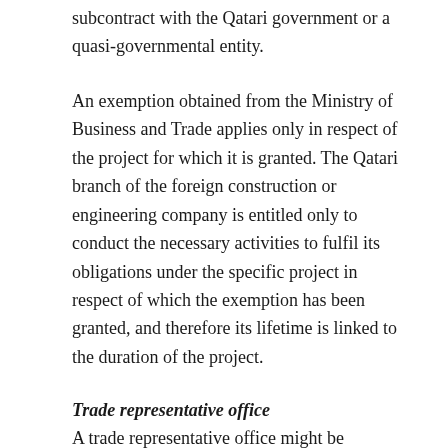subcontract with the Qatari government or a quasi-governmental entity.
An exemption obtained from the Ministry of Business and Trade applies only in respect of the project for which it is granted. The Qatari branch of the foreign construction or engineering company is entitled only to conduct the necessary activities to fulfil its obligations under the specific project in respect of which the exemption has been granted, and therefore its lifetime is linked to the duration of the project.
Trade representative office
A trade representative office might be considered to be a kind of ‘shop window’. It may be used to promote a foreign construction or engineering company in Qatar by introducing that company to the Qatari market through marketing and promotions. The trade